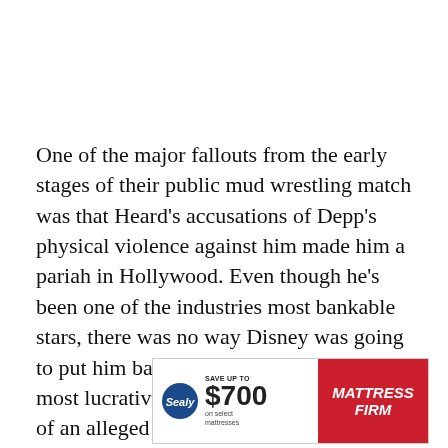One of the major fallouts from the early stages of their public mud wrestling match was that Heard's accusations of Depp's physical violence against him made him a pariah in Hollywood. Even though he's been one of the industries most bankable stars, there was no way Disney was going to put him back as the face of one of their most lucrative franchises and slap the face of an alleged domestic abuser on t-shirts and Happy Meals. So any chance… in Pirates… Old…
[Figure (other): Advertisement banner: Sealy logo on left, 'SAVE UP TO $700 on select mattresses' text in center, Mattress Firm logo on red background on right]